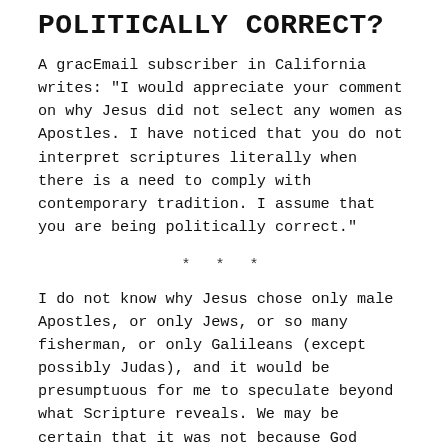POLITICALLY CORRECT?
A gracEmail subscriber in California writes: "I would appreciate your comment on why Jesus did not select any women as Apostles. I have noticed that you do not interpret scriptures literally when there is a need to comply with contemporary tradition. I assume that you are being politically correct."
* * *
I do not know why Jesus chose only male Apostles, or only Jews, or so many fisherman, or only Galileans (except possibly Judas), and it would be presumptuous for me to speculate beyond what Scripture reveals. We may be certain that it was not because God automatically rejects women in public service, since at different times he has approved their